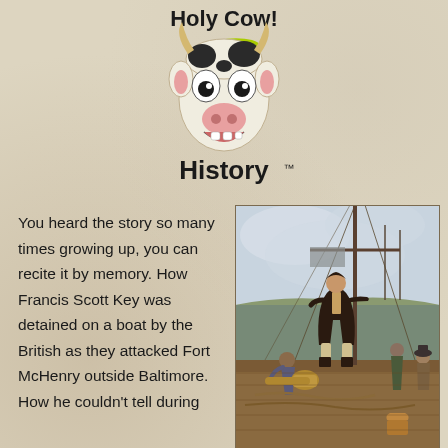[Figure (logo): Holy Cow! History logo with cartoon cow face and halo, bold text reading 'Holy Cow!' above and 'History™' below]
You heard the story so many times growing up, you can recite it by memory. How Francis Scott Key was detained on a boat by the British as they attacked Fort McHenry outside Baltimore. How he couldn't tell during
[Figure (illustration): Historical painting of Francis Scott Key on a sailing ship deck, gesturing outward, with other sailors around him, harbor and ships visible in background]